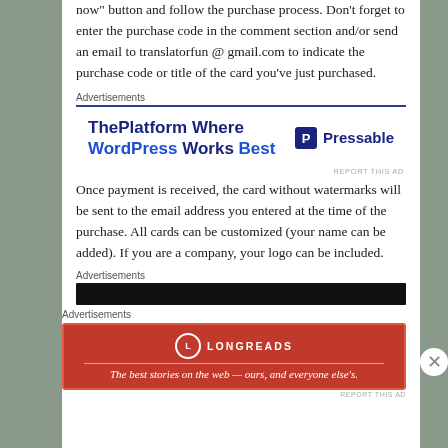now" button and follow the purchase process. Don't forget to enter the purchase code in the comment section and/or send an email to translatorfun @ gmail.com to indicate the purchase code or title of the card you've just purchased.
[Figure (screenshot): Advertisement banner: ThePlatform Where WordPress Works Best — Pressable logo]
Once payment is received, the card without watermarks will be sent to the email address you entered at the time of the purchase. All cards can be customized (your name can be added). If you are a company, your logo can be included.
[Figure (screenshot): Advertisement banner: dark/black bar]
[Figure (screenshot): Advertisement banner: Longreads — The best stories on the web — ours, and everyone else's.]